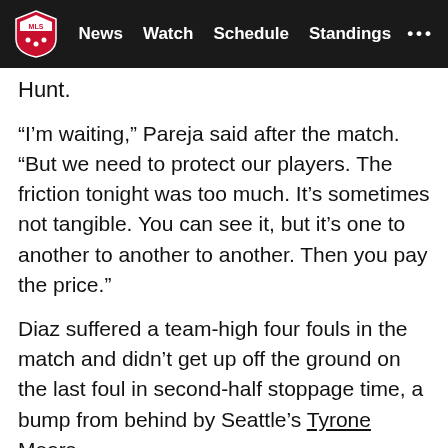MLS | News | Watch | Schedule | Standings
Hunt.
“I’m waiting,” Pareja said after the match. “But we need to protect our players. The friction tonight was too much. It’s sometimes not tangible. You can see it, but it’s one to another to another to another. Then you pay the price.”
Diaz suffered a team-high four fouls in the match and didn’t get up off the ground on the last foul in second-half stoppage time, a bump from behind by Seattle’s Tyrone Mears.
“I’m very hurt because he’s a friend, a teammate,” Dallas